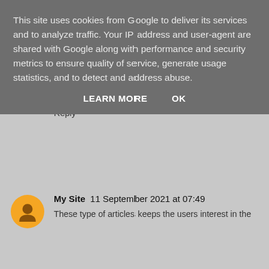This site uses cookies from Google to deliver its services and to analyze traffic. Your IP address and user-agent are shared with Google along with performance and security metrics to ensure quality of service, generate usage statistics, and to detect and address abuse.
LEARN MORE   OK
Reply
My Site  11 September 2021 at 07:49
Before Commenting, I wanna say thank you for providing this great information. I feel too good to read it this awesome blog. Keep sharing this type of content. 🙏🙏🙏🙏🙏
Reply
My Site  11 September 2021 at 07:49
These type of articles keeps the users interest in the